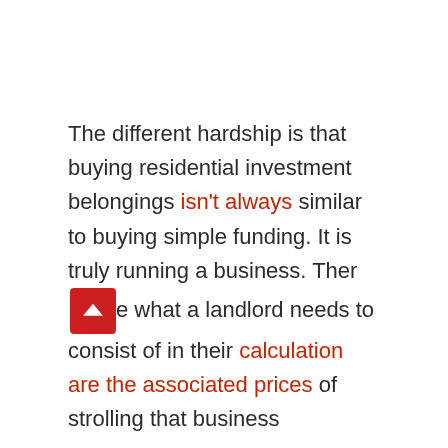The different hardship is that buying residential investment belongings isn't always similar to buying simple funding. It is truly running a business. There are what a landlord needs to consist of in their calculation are the associated prices of strolling that business